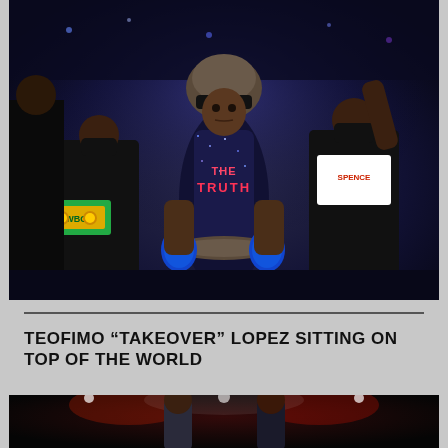[Figure (photo): Boxer wearing a fur hat and a sequined vest reading 'THE TRUTH' making his ring walk entrance, surrounded by his team. One team member holds a WBC championship belt. The boxer is wearing blue gloves and a dark sparkly vest with fur trim.]
TEOFIMO “TAKEOVER” LOPEZ SITTING ON TOP OF THE WORLD
[Figure (photo): Teofimo Lopez in the boxing ring, partially visible at bottom of page, with red lighting in the background.]